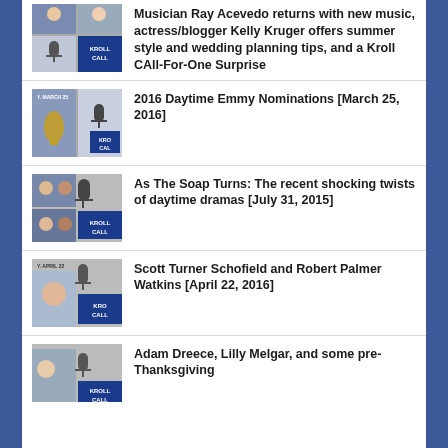Musician Ray Acevedo returns with new music, actress/blogger Kelly Kruger offers summer style and wedding planning tips, and a Kroll CAll-For-One Surprise
2016 Daytime Emmy Nominations [March 25, 2016]
As The Soap Turns: The recent shocking twists of daytime dramas [July 31, 2015]
Scott Turner Schofield and Robert Palmer Watkins [April 22, 2016]
Adam Dreece, Lilly Melgar, and some pre-Thanksgiving [November ...]